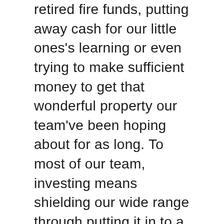retired fire funds, putting away cash for our little ones's learning or even trying to make sufficient money to get that wonderful property our team've been hoping about for as long. To most of our team, investing means shielding our wide range through putting it in to a savings account, pension or even various other sort of assets. For others, committing just means purchasing a brand new automobile or paying out for a child's university university fees.
To most of us, committing methods creating expenditures on our very own part in an identified asset like a stock market, bonds, or bond fund or sparing profile. Because our team have a legal claim on all of them, our team think protected in our capacity to produce revenue coming from these expenditures. We have bought all of them coming from an entity got in touch with a client. The company itself is actually made up of